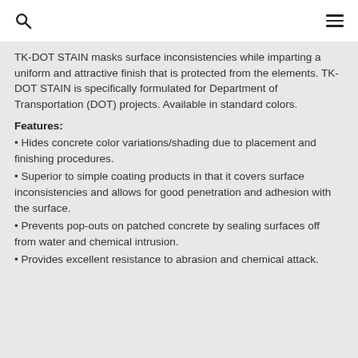[search icon] [menu icon]
TK-DOT STAIN masks surface inconsistencies while imparting a uniform and attractive finish that is protected from the elements. TK-DOT STAIN is specifically formulated for Department of Transportation (DOT) projects. Available in standard colors.
Features:
• Hides concrete color variations/shading due to placement and finishing procedures.
• Superior to simple coating products in that it covers surface inconsistencies and allows for good penetration and adhesion with the surface.
• Prevents pop-outs on patched concrete by sealing surfaces off from water and chemical intrusion.
• Provides excellent resistance to abrasion and chemical attack.